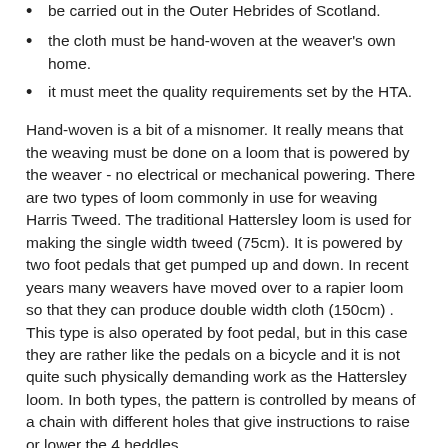be carried out in the Outer Hebrides of Scotland.
the cloth must be hand-woven at the weaver's own home.
it must meet the quality requirements set by the HTA.
Hand-woven is a bit of a misnomer. It really means that the weaving must be done on a loom that is powered by the weaver - no electrical or mechanical powering. There are two types of loom commonly in use for weaving Harris Tweed. The traditional Hattersley loom is used for making the single width tweed (75cm). It is powered by two foot pedals that get pumped up and down. In recent years many weavers have moved over to a rapier loom so that they can produce double width cloth (150cm) . This type is also operated by foot pedal, but in this case they are rather like the pedals on a bicycle and it is not quite such physically demanding work as the Hattersley loom. In both types, the pattern is controlled by means of a chain with different holes that give instructions to raise or lower the 4 heddles.
The main weave patterns used are either a simple twill or a